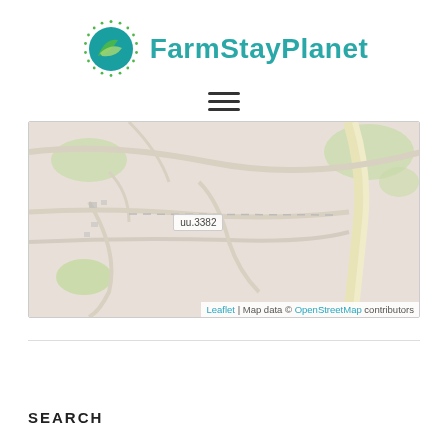[Figure (logo): FarmStayPlanet logo: green circular emblem with leaf/globe design and radiating dots, next to brand name 'FarmStayPlanet' in teal]
[Figure (other): Hamburger menu icon (three horizontal lines)]
[Figure (map): OpenStreetMap tile showing rural road network. A road label reads 'uu.3382'. Map attribution: Leaflet | Map data © OpenStreetMap contributors]
SEARCH